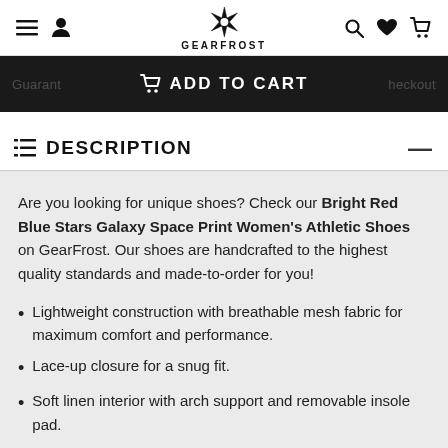GEARFROST navigation bar with menu, user, logo, search, wishlist, cart icons
Guaranteed ADD TO CART checkout
DESCRIPTION
Are you looking for unique shoes? Check our Bright Red Blue Stars Galaxy Space Print Women's Athletic Shoes on GearFrost. Our shoes are handcrafted to the highest quality standards and made-to-order for you!
Lightweight construction with breathable mesh fabric for maximum comfort and performance.
Lace-up closure for a snug fit.
Soft linen interior with arch support and removable insole pad.